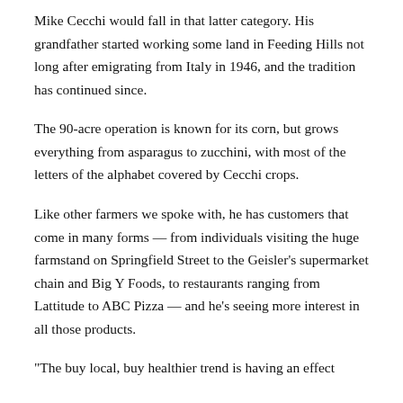Mike Cecchi would fall in that latter category. His grandfather started working some land in Feeding Hills not long after emigrating from Italy in 1946, and the tradition has continued since.
The 90-acre operation is known for its corn, but grows everything from asparagus to zucchini, with most of the letters of the alphabet covered by Cecchi crops.
Like other farmers we spoke with, he has customers that come in many forms — from individuals visiting the huge farmstand on Springfield Street to the Geisler’s supermarket chain and Big Y Foods, to restaurants ranging from Lattitude to ABC Pizza — and he’s seeing more interest in all those products.
“The buy local, buy healthier trend is having an effect